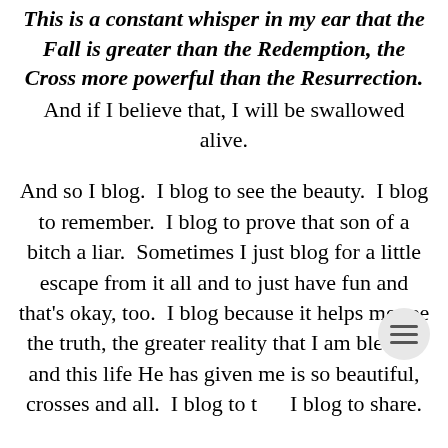This is a constant whisper in my ear that the Fall is greater than the Redemption, the Cross more powerful than the Resurrection. And if I believe that, I will be swallowed alive.
And so I blog. I blog to see the beauty. I blog to remember. I blog to prove that son of a bitch a liar. Sometimes I just blog for a little escape from it all and to just have fun and that's okay, too. I blog because it helps me see the truth, the greater reality that I am blessed and this life He has given me is so beautiful, crosses and all. I blog to t… I blog to share.
I have little doubt that there are those who